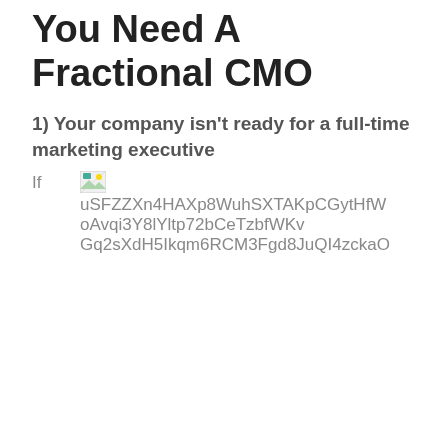You Need A Fractional CMO
1) Your company isn't ready for a full-time marketing executive
If [broken image] uSFZZXn4HAXp8WuhSXTAKpCGytHfWoAvqi3Y8lYltp72bCeTzbfWKvGq2sXdH5Ikqm6RCM3Fgd8JuQI4zckaO